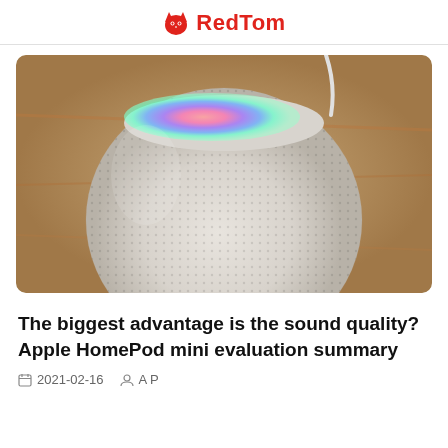RedTom
[Figure (photo): Apple HomePod mini speaker with colorful RGB light display on top, white mesh fabric body, sitting on a wooden surface]
The biggest advantage is the sound quality? Apple HomePod mini evaluation summary
2021-02-16  A P